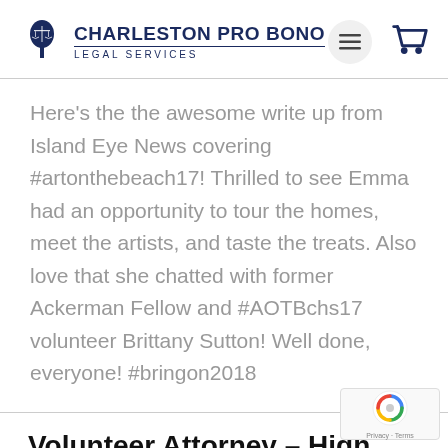Charleston Pro Bono Legal Services
Here's the the awesome write up from Island Eye News covering #artonthebeach17! Thrilled to see Emma had an opportunity to tour the homes, meet the artists, and taste the treats. Also love that she chatted with former Ackerman Fellow and #AOTBchs17 volunteer Brittany Sutton! Well done, everyone! #bringon2018
Volunteer Attorney – High Fives!